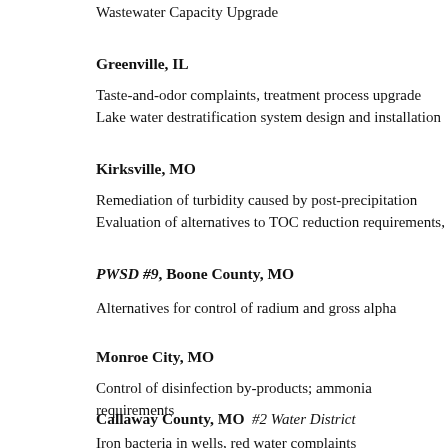Wastewater Capacity Upgrade
Greenville, IL
Taste-and-odor complaints, treatment process upgrade
Lake water destratification system design and installation
Kirksville, MO
Remediation of turbidity caused by post-precipitation
Evaluation of alternatives to TOC reduction requirements, SUV…
PWSD #9, Boone County, MO
Alternatives for control of radium and gross alpha
Monroe City, MO
Control of disinfection by-products; ammonia requirements
Callaway County, MO  #2 Water District
Iron bacteria in wells, red water complaints